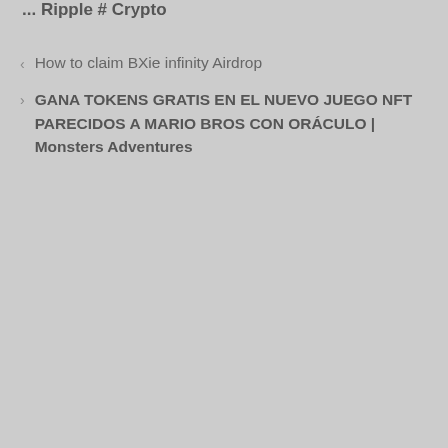... Ripple # Crypto
How to claim BXie infinity Airdrop
GANA TOKENS GRATIS EN EL NUEVO JUEGO NFT PARECIDOS A MARIO BROS CON ORÁCULO | Monsters Adventures